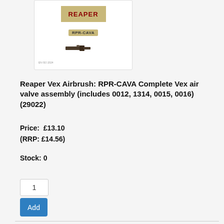[Figure (photo): Product image showing Reaper brand logo, RPR-CAVA SKU badge, and a small metal air valve part component on white background]
Reaper Vex Airbrush: RPR-CAVA Complete Vex air valve assembly (includes 0012, 1314, 0015, 0016) (29022)
Price:  £13.10
(RRP: £14.56)
Stock: 0